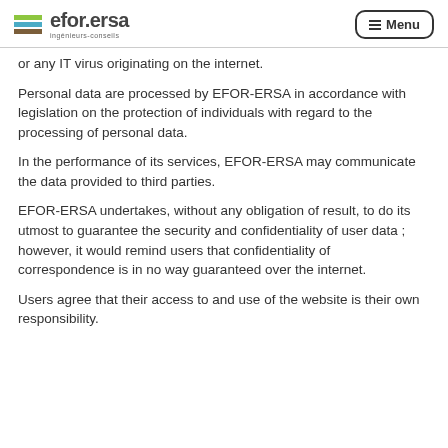efor.ersa ingénieurs-conseils — Menu
or any IT virus originating on the internet.
Personal data are processed by EFOR-ERSA in accordance with legislation on the protection of individuals with regard to the processing of personal data.
In the performance of its services, EFOR-ERSA may communicate the data provided to third parties.
EFOR-ERSA undertakes, without any obligation of result, to do its utmost to guarantee the security and confidentiality of user data ; however, it would remind users that confidentiality of correspondence is in no way guaranteed over the internet.
Users agree that their access to and use of the website is their own responsibility.